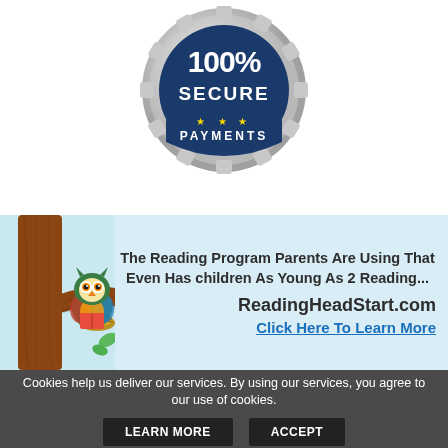[Figure (logo): 100% Secure Payments badge - circular silver badge with blue center reading '100% SECURE' on top and 'PAYMENTS' on a ribbon at bottom with stars]
[Figure (illustration): Reading Head Start advertisement banner with light blue background. Shows a cartoon owl sitting on a tree branch on the left. Text reads: 'The Reading Program Parents Are Using That Even Has children As Young As 2 Reading...' and 'ReadingHeadStart.com' and 'Click Here To Learn More']
Cookies help us deliver our services. By using our services, you agree to our use of cookies.
LEARN MORE   ACCEPT